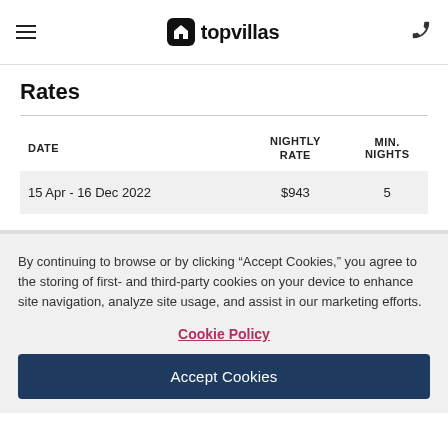topvillas
Rates
| DATE | NIGHTLY RATE | MIN. NIGHTS |
| --- | --- | --- |
| 15 Apr - 16 Dec 2022 | $943 | 5 |
By continuing to browse or by clicking “Accept Cookies,” you agree to the storing of first- and third-party cookies on your device to enhance site navigation, analyze site usage, and assist in our marketing efforts.
Cookie Policy
Accept Cookies